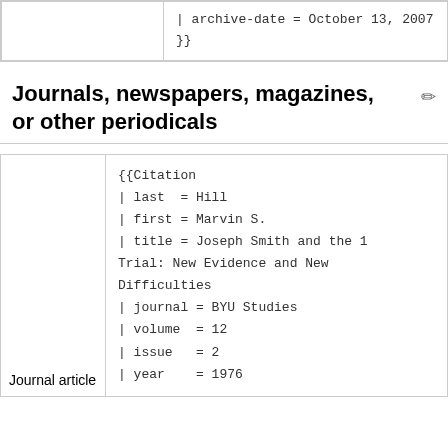|  | | archive-date = October 13, 2007
}} |
Journals, newspapers, magazines, or other periodicals
| Journal article | {{Citation
| last  = Hill
| first = Marvin S.
| title = Joseph Smith and the 1 Trial: New Evidence and New Difficulties
| journal = BYU Studies
| volume  = 12
| issue   = 2
| year    = 1976 |